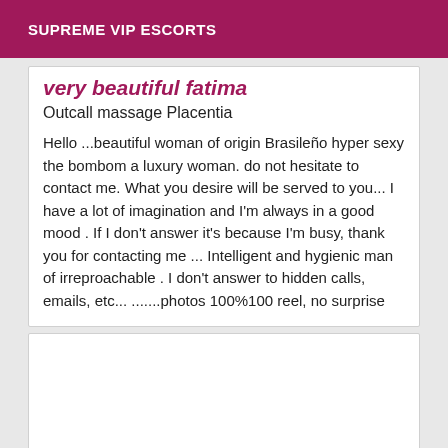SUPREME VIP ESCORTS
very beautiful fatima
Outcall massage Placentia
Hello ...beautiful woman of origin Brasileño hyper sexy the bombom a luxury woman. do not hesitate to contact me. What you desire will be served to you... I have a lot of imagination and I'm always in a good mood . If I don't answer it's because I'm busy, thank you for contacting me ... Intelligent and hygienic man of irreproachable . I don't answer to hidden calls, emails, etc... .......photos 100%100 reel, no surprise